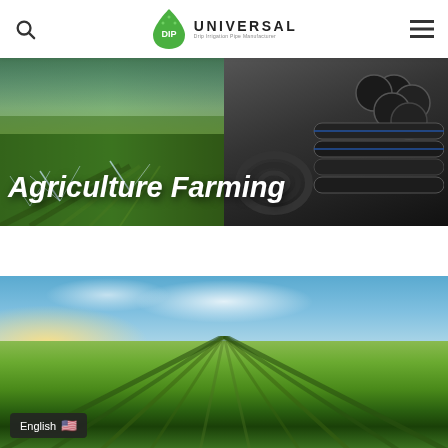Universal DIP — Drip Irrigation Pipe Manufacturer
Agriculture Farming
[Figure (photo): Hero banner showing agricultural irrigation sprinklers on a green crop field on the left, and black HDPE/PE pipes bundled and coiled on the right]
[Figure (photo): Wide-angle photo of a large flat farm field with rows of green crops converging to the horizon under a bright blue sky with clouds and golden sunset glow on the left]
English 🇺🇸